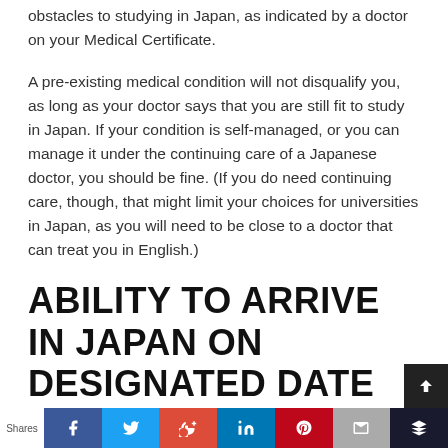obstacles to studying in Japan, as indicated by a doctor on your Medical Certificate.
A pre-existing medical condition will not disqualify you, as long as your doctor says that you are still fit to study in Japan. If your condition is self-managed, or you can manage it under the continuing care of a Japanese doctor, you should be fine. (If you do need continuing care, though, that might limit your choices for universities in Japan, as you will need to be close to a doctor that can treat you in English.)
ABILITY TO ARRIVE IN JAPAN ON DESIGNATED DATE
In the application form, you will specify whether you want to arrive in Japan for the April or September/October term in 2022. Note that this is
Shares